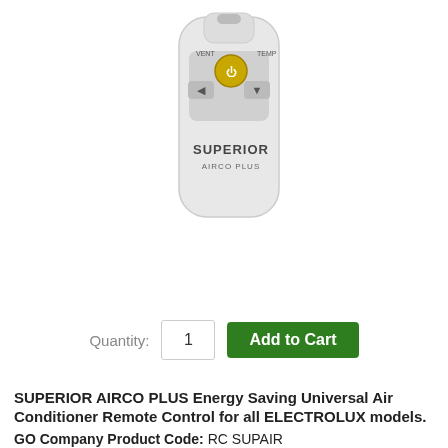[Figure (photo): White remote control for Superior Airco Plus air conditioner, showing power button (yellow), up/down arrows, and labeled 'SUPERIOR AIRCO PLUS']
Ask a question about this product
Quantity: 1  Add to Cart
SUPERIOR AIRCO PLUS Energy Saving Universal Air Conditioner Remote Control for all ELECTROLUX models.
GO Company Product Code: RC SUPAIR
Description: This Energy Saving Universal Air Conditioner Remote Control is suitable for all brands, a very popular